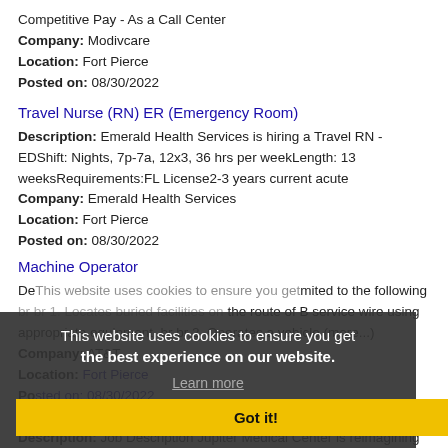Competitive Pay - As a Call Center
Company: Modivcare
Location: Fort Pierce
Posted on: 08/30/2022
Travel Nurse (RN) ER (Emergency Room)
Description: Emerald Health Services is hiring a Travel RN - EDShift: Nights, 7p-7a, 12x3, 36 hrs per weekLength: 13 weeksRequirements:FL License2-3 years current acute
Company: Emerald Health Services
Location: Fort Pierce
Posted on: 08/30/2022
Machine Operator
De[obscured by overlay] ...imited to the following br br 1. Locates buried facilities on the route of B service wire using appropriate equipment. br br 2. Operates a vehicle (more...)
Company: AT&T
Location: Fort Pierce
Posted on: 08/30/2022
This website uses cookies to ensure you get the best experience on our website. Learn more Got it!
LIS Analyst - Full Time - Days
Description: Job Description Jupiter Medical Center is reimagining